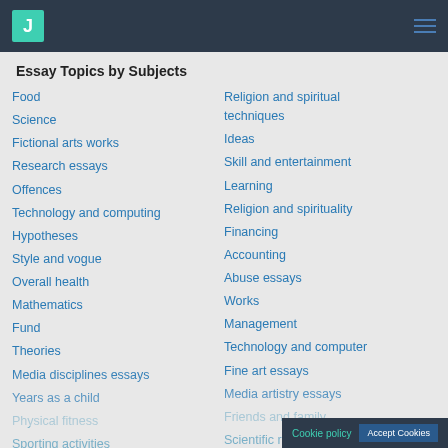J [logo] [hamburger menu]
Essay Topics by Subjects
Food
Science
Fictional arts works
Research essays
Offences
Technology and computing
Hypotheses
Style and vogue
Overall health
Mathematics
Fund
Theories
Media disciplines essays
Years as a child
Physical fitness
Sporting activities
Finance
Religion and spiritual techniques
Ideas
Skill and entertainment
Learning
Religion and spirituality
Financing
Accounting
Abuse essays
Works
Management
Technology and computer
Fine art essays
Media artistry essays
Friends and family
Scientific research
Personal concerns